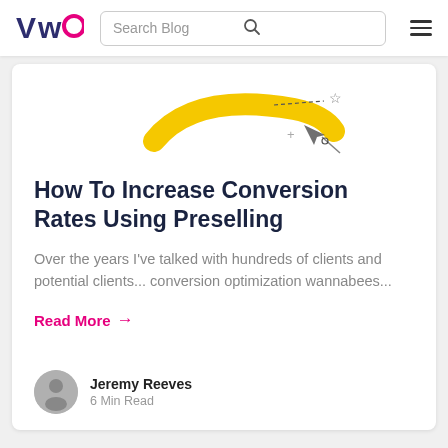VWO | Search Blog
[Figure (illustration): Partial view of a yellow curved shape with dashed lines and a star icon, a cursor arrow and plus sign — an abstract illustration]
How To Increase Conversion Rates Using Preselling
Over the years I've talked with hundreds of clients and potential clients... conversion optimization wannabees...
Read More →
Jeremy Reeves
6 Min Read